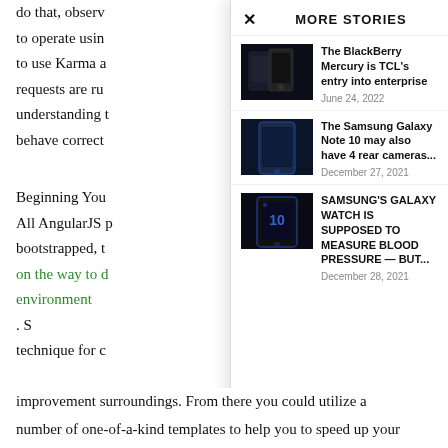do that, observ
to operate usin
to use Karma a
requests are ru
understanding t
behave correct
Beginning You
All AngularJS p
bootstrapped, t
on the way to d
environment. S
technique for c
MORE STORIES
[Figure (photo): BlackBerry Mercury smartphone shown from front and back on dark background]
The BlackBerry Mercury is TCL's entry into enterprise
June 24, 2022
[Figure (photo): Samsung Galaxy Note 10 smartphone shown in blue color on dark background]
The Samsung Galaxy Note 10 may also have 4 rear cameras...
December 27, 2021
[Figure (photo): Samsung Galaxy Watch phone with number 10 on screen, black and blue design]
SAMSUNG'S GALAXY WATCH IS SUPPOSED TO MEASURE BLOOD PRESSURE — BUT...
December 28, 2021
improvement surroundings. From there you could utilize a number of one-of-a-kind templates to help you to speed up your